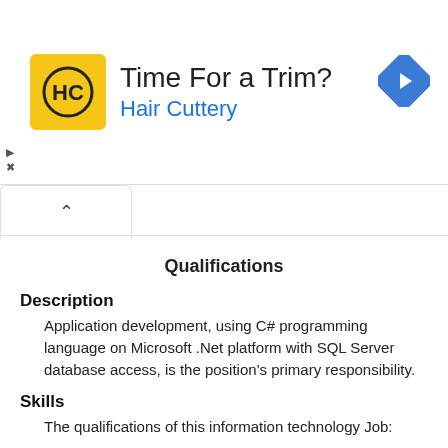[Figure (other): Advertisement banner for Hair Cuttery with logo, headline 'Time For a Trim?', subtext 'Hair Cuttery', a navigation arrow icon on the right, and close/skip icons on the left.]
Qualifications
Description
Application development, using C# programming language on Microsoft .Net platform with SQL Server database access, is the position's primary responsibility.
Skills
The qualifications of this information technology Job:
Microsoft C#;